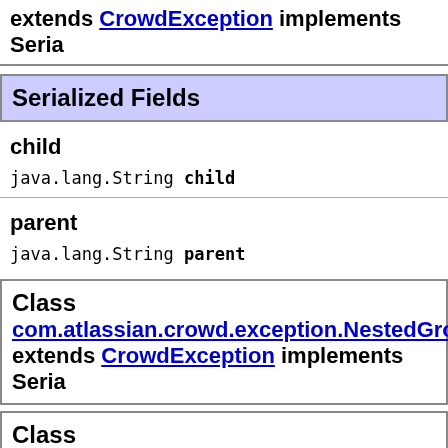extends CrowdException implements Seria…
Serialized Fields
child
java.lang.String child
parent
java.lang.String parent
Class com.atlassian.crowd.exception.NestedGrou… extends CrowdException implements Seria…
Class com.atlassian.crowd.exception.NotDirectM… extends CrowdException implements Seri…